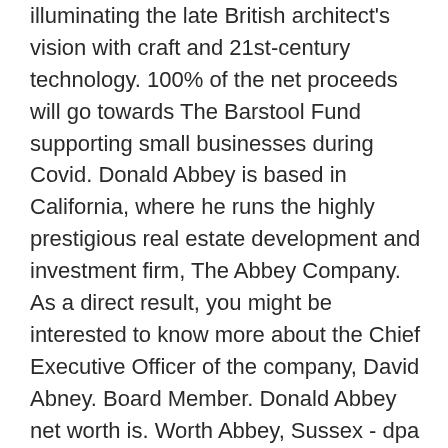illuminating the late British architect's vision with craft and 21st-century technology. 100% of the net proceeds will go towards The Barstool Fund supporting small businesses during Covid. Donald Abbey is based in California, where he runs the highly prestigious real estate development and investment firm, The Abbey Company. As a direct result, you might be interested to know more about the Chief Executive Officer of the company, David Abney. Board Member. Donald Abbey net worth is. Worth Abbey, Sussex - dpa lighting consultants - "Right Light, Right Place, Right Time" ™ November 2020 dpa were delighted to be asked by Heatherwick Studio to design the lighting for this Monastic Church at Worth Abbey. In 1957 Worth Abbey became independent from Downside Abbey, and shortly after this an independent senior school, Worth School, for boys aged 13 to 18, was founded (1959).The former Worth Preparatory School remained separate from the senior school and was progressively scaled-down until in 1965 it became The Junior House for boys